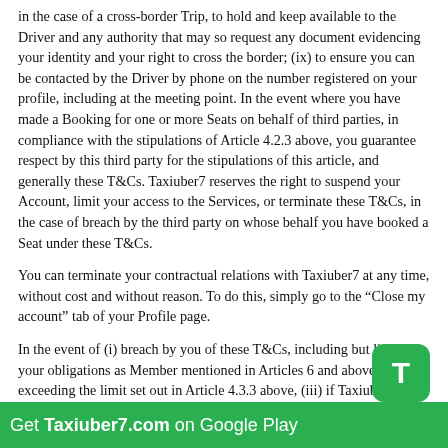in the case of a cross-border Trip, to hold and keep available to the Driver and any authority that may so request any document evidencing your identity and your right to cross the border; (ix) to ensure you can be contacted by the Driver by phone on the number registered on your profile, including at the meeting point. In the event where you have made a Booking for one or more Seats on behalf of third parties, in compliance with the stipulations of Article 4.2.3 above, you guarantee respect by this third party for the stipulations of this article, and generally these T&Cs. Taxiuber7 reserves the right to suspend your Account, limit your access to the Services, or terminate these T&Cs, in the case of breach by the third party on whose behalf you have booked a Seat under these T&Cs.
You can terminate your contractual relations with Taxiuber7 at any time, without cost and without reason. To do this, simply go to the “Close my account” tab of your Profile page.
In the event of (i) breach by you of these T&Cs, including but limited to your obligations as Member mentioned in Articles 6 and above, (ii) exceeding the limit set out in Article 4.3.3 above, (iii) if Taxiuber7 has genuine reason to believe that this is necessary to protect its security and its integrity, that of the Members and third parties, or for the purpose of prevention of fraud or investigations,